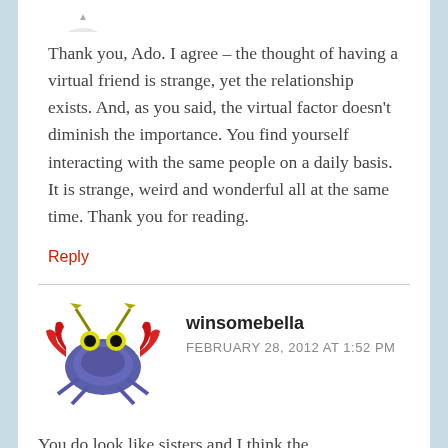[Figure (illustration): Partial avatar image visible at top of page (cropped)]
Thank you, Ado. I agree – the thought of having a virtual friend is strange, yet the relationship exists. And, as you said, the virtual factor doesn't diminish the importance. You find yourself interacting with the same people on a daily basis. It is strange, weird and wonderful all at the same time. Thank you for reading.
Reply
[Figure (illustration): Pixel art crab avatar image for user winsomebella]
winsomebella
FEBRUARY 28, 2012 AT 1:52 PM
You do look like sisters and I think the